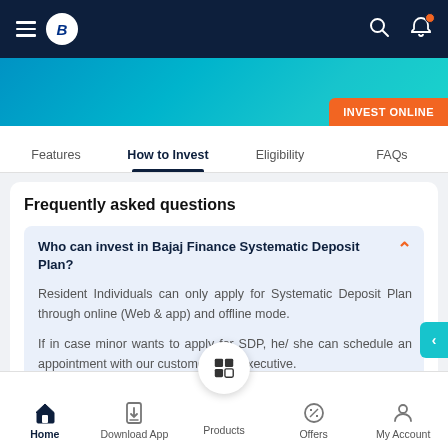Bajaj Finance app navigation bar with hamburger menu, logo, search and notification icons
[Figure (screenshot): Blue gradient hero banner with INVEST ONLINE orange button]
Features | How to Invest | Eligibility | FAQs
Frequently asked questions
Who can invest in Bajaj Finance Systematic Deposit Plan?
Resident Individuals can only apply for Systematic Deposit Plan through online (Web & app) and offline mode.

If in case minor wants to apply for SDP, he/ she can schedule an appointment with our customer care executive.
Home | Download App | Products | Offers | My Account